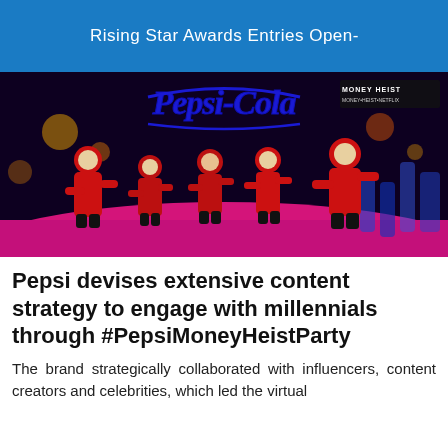Rising Star Awards Entries Open-
[Figure (photo): People dressed in red jumpsuits and Salvador Dali masks from Money Heist dancing on a colorful stage with Pepsi-Cola logo displayed above them and MONEY HEIST / NETFLIX branding in top right corner]
Pepsi devises extensive content strategy to engage with millennials through #PepsiMoneyHeistParty
The brand strategically collaborated with influencers, content creators and celebrities, which led the virtual